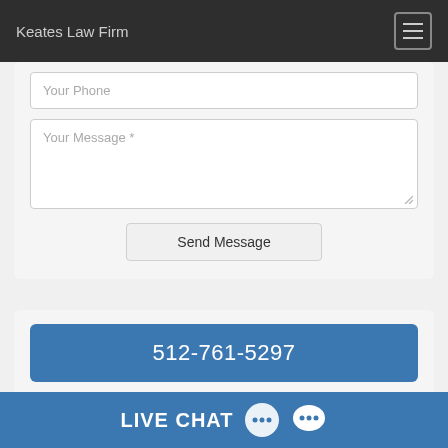Keates Law Firm
Your Phone
Your Message *
Send Message
512-761-5297
Call for a Free Consultation
LIVE CHAT